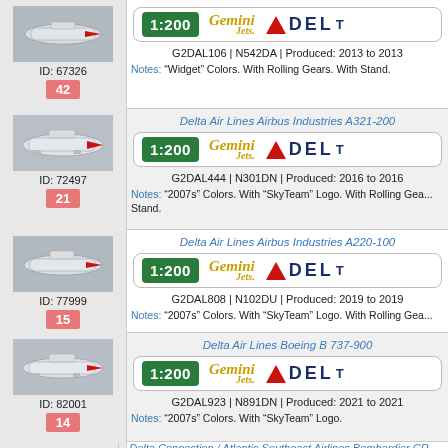[Figure (photo): Model airplane photo, ID 67326]
ID: 67326
42
G2DAL106 | N542DA | Produced: 2013 to 2013
Notes: "Widget" Colors. With Rolling Gears. With Stand.
Delta Air Lines Airbus Industries A321-200
[Figure (photo): Model airplane photo, ID 72497]
ID: 72497
21
G2DAL444 | N301DN | Produced: 2016 to 2016
Notes: "2007s" Colors. With "SkyTeam" Logo. With Rolling Gears. Stand.
Delta Air Lines Airbus Industries A220-100
[Figure (photo): Model airplane photo, ID 77999]
ID: 77999
15
G2DAL808 | N102DU | Produced: 2019 to 2019
Notes: "2007s" Colors. With "SkyTeam" Logo. With Rolling Gea...
Delta Air Lines Boeing B 737-900
[Figure (photo): Model airplane photo, ID 82001]
ID: 82001
14
G2DAL923 | N891DN | Produced: 2021 to 2021
Notes: "2007s" Colors. With "SkyTeam" Logo.
Delta Connection / Atlantic Southeast Airlines Bombardier CR...